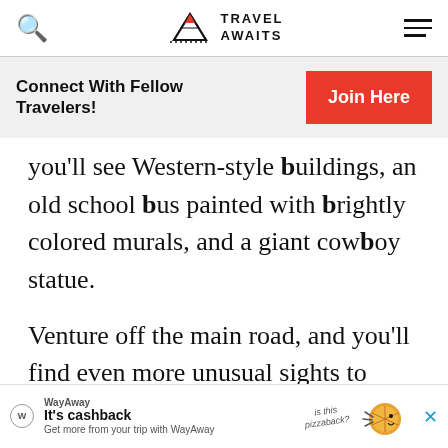Travel Awaits
Connect With Fellow Travelers!
you'll see Western-style buildings, an old school bus painted with brightly colored murals, and a giant cowboy statue.
Venture off the main road, and you'll find even more unusual sights to expl…
[Figure (other): WayAway advertisement banner at bottom of page]